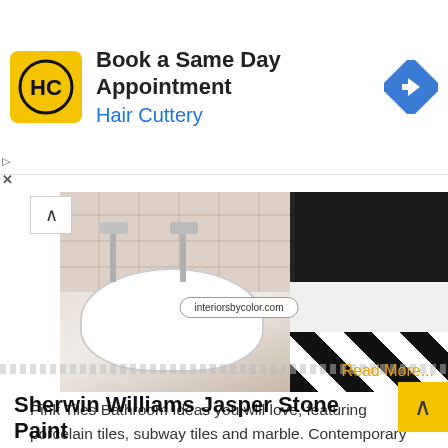[Figure (infographic): Hair Cuttery advertisement banner with logo, headline 'Book a Same Day Appointment', subtext 'Hair Cuttery', and a blue navigation arrow icon on the right]
[Figure (photo): Two bathroom photos side by side: left shows a white porcelain double sink with chrome faucets and pink wall tiles; right shows a glass shower enclosure with black and white diamond floor tiles and herringbone wall tiles. Watermark reads 'interiorsbycolor.com']
Pink Tiles Bathroom Ideas you will love, featuring porcelain tiles, subway tiles and marble. Contemporary pink designs that are not overly sweet. Instantly dress up pink tiles with brass or gold hardware. Pink Subway Tiles Subway tiles are on trend right now. These tiles
Read More...
Sherwin Williams Jasper Stone Paint